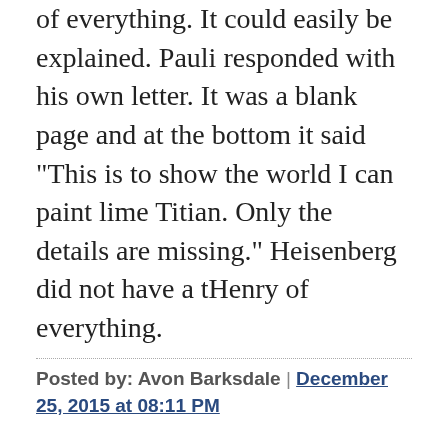of everything. It could easily be explained. Pauli responded with his own letter. It was a blank page and at the bottom it said "This is to show the world I can paint lime Titian. Only the details are missing." Heisenberg did not have a tHenry of everything.
Posted by: Avon Barksdale | December 25, 2015 at 08:11 PM
Avon: the neat thing about blogs is that you can put something out there, and see how people respond. Anyone can come on here and tell me I'm wrong, and why I'm wrong...